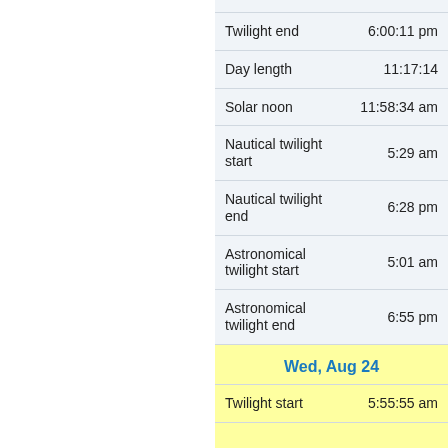| Event | Time |
| --- | --- |
| Twilight end | 6:00:11 pm |
| Day length | 11:17:14 |
| Solar noon | 11:58:34 am |
| Nautical twilight start | 5:29 am |
| Nautical twilight end | 6:28 pm |
| Astronomical twilight start | 5:01 am |
| Astronomical twilight end | 6:55 pm |
| Wed, Aug 24 |  |
| Twilight start | 5:55:55 am |